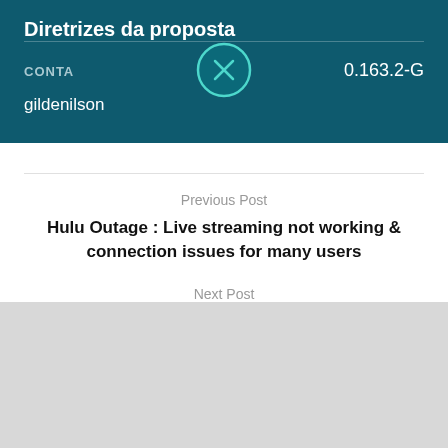Diretrizes da proposta
CONTA
[Figure (other): Circular icon with X symbol, teal/cyan border on dark teal background]
0.163.2-G
gildenilson
Previous Post
Hulu Outage : Live streaming not working & connection issues for many users
Next Post